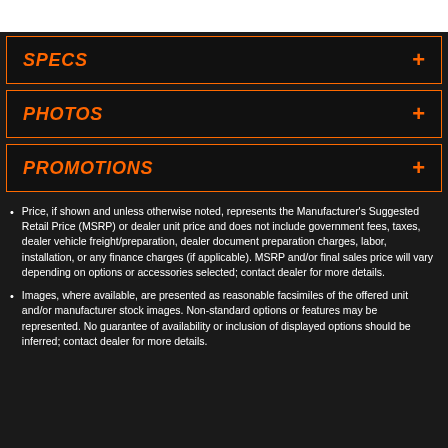SPECS
PHOTOS
PROMOTIONS
Price, if shown and unless otherwise noted, represents the Manufacturer's Suggested Retail Price (MSRP) or dealer unit price and does not include government fees, taxes, dealer vehicle freight/preparation, dealer document preparation charges, labor, installation, or any finance charges (if applicable). MSRP and/or final sales price will vary depending on options or accessories selected; contact dealer for more details.
Images, where available, are presented as reasonable facsimiles of the offered unit and/or manufacturer stock images. Non-standard options or features may be represented. No guarantee of availability or inclusion of displayed options should be inferred; contact dealer for more details.